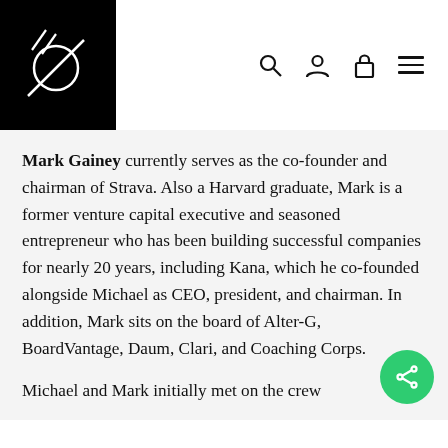[Figure (logo): Black square logo with a white circle and diagonal lines through it (Strava-related brand logo)]
Mark Gainey currently serves as the co-founder and chairman of Strava. Also a Harvard graduate, Mark is a former venture capital executive and seasoned entrepreneur who has been building successful companies for nearly 20 years, including Kana, which he co-founded alongside Michael as CEO, president, and chairman. In addition, Mark sits on the board of Alter-G, BoardVantage, Daum, Clari, and Coaching Corps.
Michael and Mark initially met on the crew